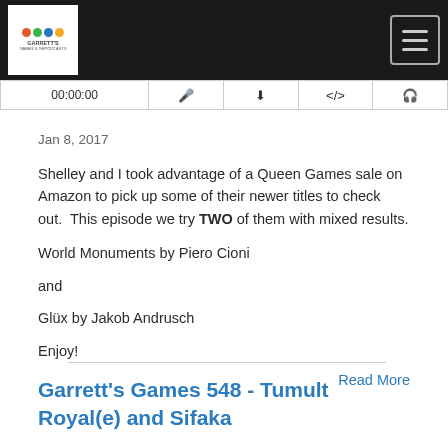[Figure (logo): Garrett's Games and Gepodcasts logo in white box on black navigation bar]
[Figure (screenshot): Navigation toolbar row with icons: 00:00:00, microphone, download arrow, share, headphones]
Jan 8, 2017
Shelley and I took advantage of a Queen Games sale on Amazon to pick up some of their newer titles to check out.  This episode we try TWO of them with mixed results.
World Monuments by Piero Cioni
and
Glüx by Jakob Andrusch
Enjoy!
Read More
Garrett's Games 548 - Tumult Royal(e) and Sifaka